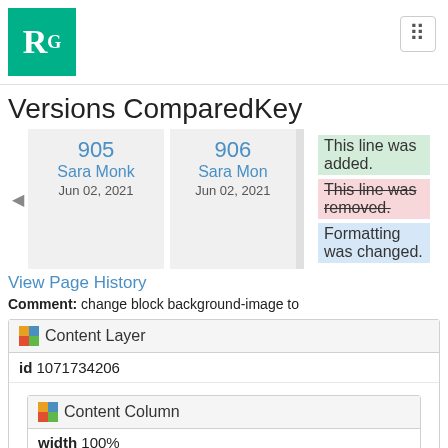[Figure (logo): ResearchGate RG logo in teal/green square]
Versions ComparedKey
[Figure (infographic): Version comparison boxes: 905 Sara Monk Jun 02 2021 vs 906 Sara Mon Jun 02 2021, with key showing added/removed/changed lines]
View Page History
Comment: change block background-image to
Content Layer
id 1071734206
Content Column
width 100%
id 1071734208